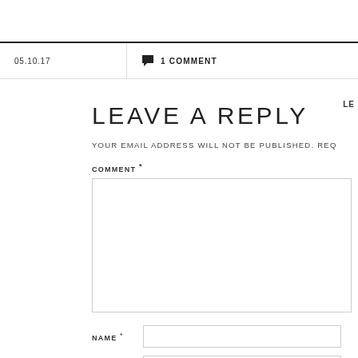05.10.17   1 COMMENT   LE
LEAVE A REPLY
YOUR EMAIL ADDRESS WILL NOT BE PUBLISHED. REQ
COMMENT *
NAME *
EMAIL *